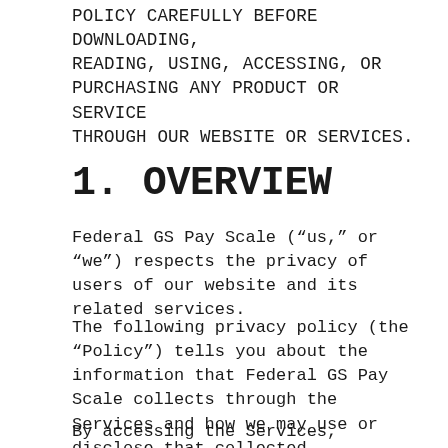POLICY CAREFULLY BEFORE DOWNLOADING, READING, USING, ACCESSING, OR PURCHASING ANY PRODUCT OR SERVICE THROUGH OUR WEBSITE OR SERVICES.
1. OVERVIEW
Federal GS Pay Scale (“us,” or “we”) respects the privacy of users of our website and its related services.
The following privacy policy (the “Policy”) tells you about the information that Federal GS Pay Scale collects through the Services and how we may use or disclose that collected information.
By accessing the Services, continuing to